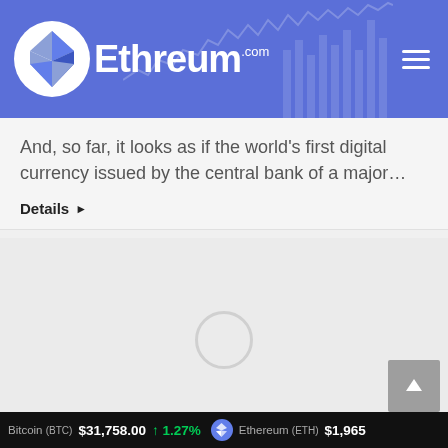Ethreum.com
And, so far, it looks as if the world's first digital currency issued by the central bank of a major…
Details ▶
[Figure (other): Loading spinner / placeholder card with a circular spinner indicator in the center]
Bitcoin (BTC) $31,758.00 ↑ 1.27%   Ethereum (ETH) $1,965